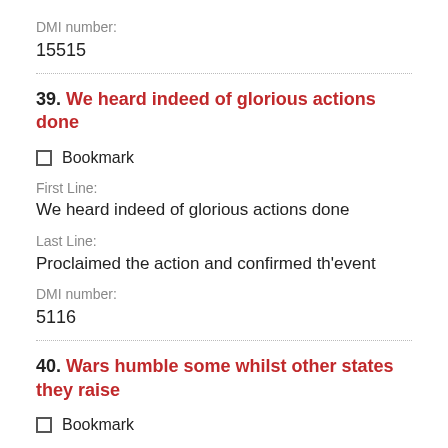DMI number:
15515
39. We heard indeed of glorious actions done
Bookmark
First Line:
We heard indeed of glorious actions done
Last Line:
Proclaimed the action and confirmed th'event
DMI number:
5116
40. Wars humble some whilst other states they raise
Bookmark